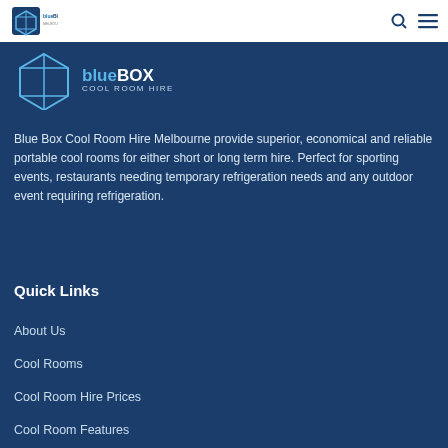Blue Box Cool Room Hire Melbourne — navigation bar with logo, search and menu icons
[Figure (logo): Blue Box Cool Room Hire logo — ice cube graphic with blue box and 'blueBOX | MELBOURNE' text in nav bar; larger version below with 'blueBOX COOL ROOM HIRE' text]
Blue Box Cool Room Hire Melbourne provide superior, economical and reliable portable cool rooms for either short or long term hire. Perfect for sporting events, restaurants needing temporary refrigeration needs and any outdoor event requiring refrigeration.
Quick Links
About Us
Cool Rooms
Cool Room Hire Prices
Cool Room Features